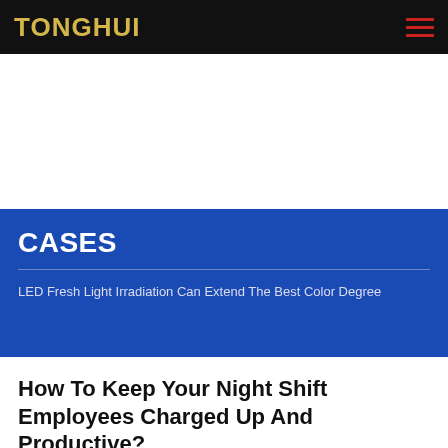TONGHUI
CASES
LED Fresh Light Irradiation Can Extend The Best Color Degree
How To Keep Your Night Shift Employees Charged Up And Productive?
Even when you have snoozed throughout the day and feel